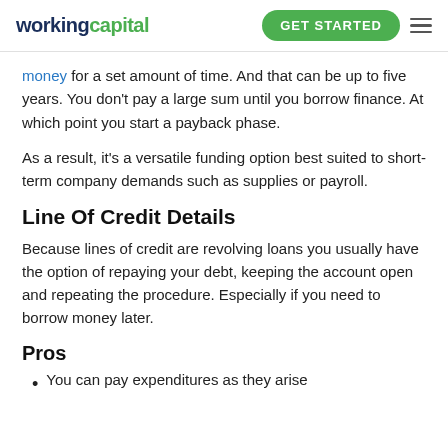workingcapital | GET STARTED
money for a set amount of time. And that can be up to five years. You don't pay a large sum until you borrow finance. At which point you start a payback phase.
As a result, it's a versatile funding option best suited to short-term company demands such as supplies or payroll.
Line Of Credit Details
Because lines of credit are revolving loans you usually have the option of repaying your debt, keeping the account open and repeating the procedure. Especially if you need to borrow money later.
Pros
You can pay expenditures as they arise